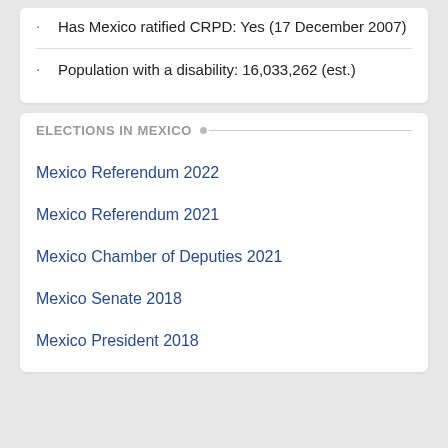Has Mexico ratified CRPD: Yes (17 December 2007)
Population with a disability: 16,033,262 (est.)
ELECTIONS IN MEXICO
Mexico Referendum 2022
Mexico Referendum 2021
Mexico Chamber of Deputies 2021
Mexico Senate 2018
Mexico President 2018